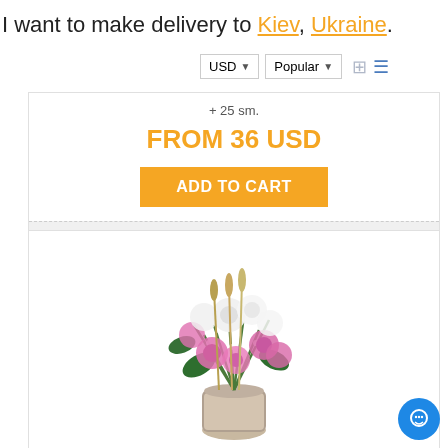I want to make delivery to Kiev, Ukraine.
USD ▼   Popular ▼
+ 25 sm.
FROM 36 USD
ADD TO CART
Available for delivery
[Figure (photo): A flower bouquet with pink and white chrysanthemums, baby's breath, and green foliage arranged in a decorative vase.]